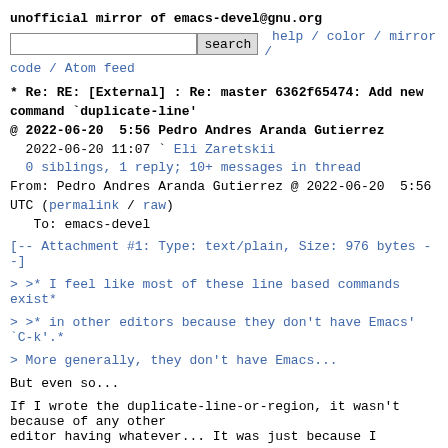unofficial mirror of emacs-devel@gnu.org
[search box] search  help / color / mirror / code / Atom feed
* Re: RE: [External] : Re: master 6362f65474: Add new command `duplicate-line'
@ 2022-06-20  5:56 Pedro Andres Aranda Gutierrez
  2022-06-20 11:07 ` Eli Zaretskii
  0 siblings, 1 reply; 10+ messages in thread
From: Pedro Andres Aranda Gutierrez @ 2022-06-20  5:56 UTC (permalink / raw)
   To: emacs-devel
[-- Attachment #1: Type: text/plain, Size: 976 bytes --]
> >* I feel like most of these line based commands exist*
> >* in other editors because they don't have Emacs' `C-k'.*
> More generally, they don't have Emacs...
But even so...
If I wrote the duplicate-line-or-region, it wasn't because of any other
editor having whatever... It was just because I